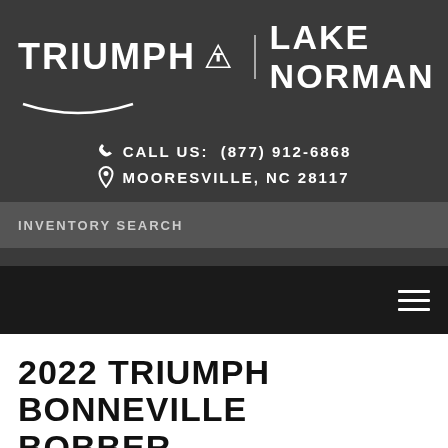[Figure (logo): Triumph Lake Norman dealership logo with Triumph wordmark, triangular T shield icon, vertical divider, and LAKE NORMAN text, all in white on dark grey background]
CALL US: (877) 912-6868
MOORESVILLE, NC 28117
INVENTORY SEARCH
2022 TRIUMPH BONNEVILLE BOBBER